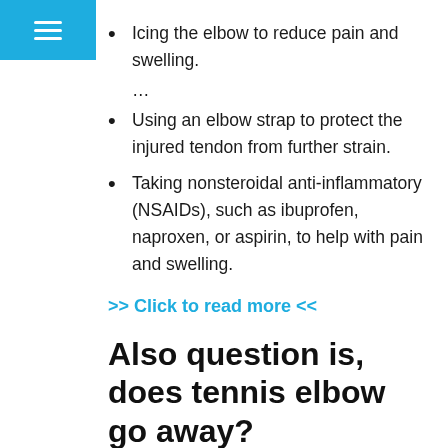menu
Icing the elbow to reduce pain and swelling.
...
Using an elbow strap to protect the injured tendon from further strain.
Taking nonsteroidal anti-inflammatory (NSAIDs), such as ibuprofen, naproxen, or aspirin, to help with pain and swelling.
>> Click to read more <<
Also question is, does tennis elbow go away?
Tennis elbow will get better without treatment